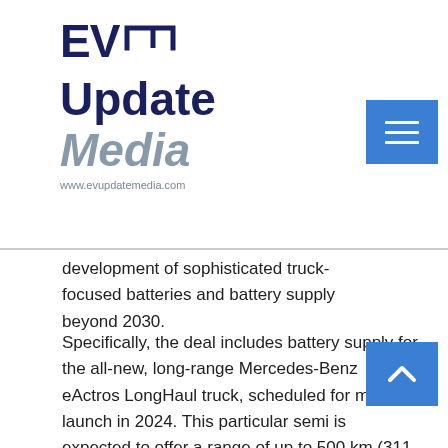EV Update Media — www.evupdatemedia.com
development of sophisticated truck-focused batteries and battery supply beyond 2030.
Specifically, the deal includes battery supply for the all-new, long-range Mercedes-Benz eActros LongHaul truck, scheduled for market launch in 2024. This particular semi is expected to offer a range of up to 500 km (311 miles).
According to the press release, CATL's batteries offer high energy density (undisclosed), ultra-long cycle life as well as fast-charging ability.
“CATL will be the supplier of lithium-ion battery packs